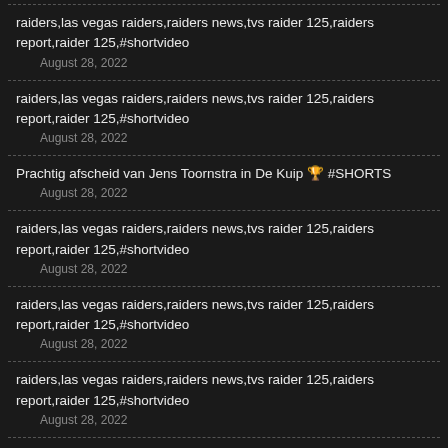raiders,las vegas raiders,raiders news,tvs raider 125,raiders report,raider 125,#shortvideo
August 28, 2022
raiders,las vegas raiders,raiders news,tvs raider 125,raiders report,raider 125,#shortvideo
August 28, 2022
Prachtig afscheid van Jens Toornstra in De Kuip 🏆 #SHORTS
August 28, 2022
raiders,las vegas raiders,raiders news,tvs raider 125,raiders report,raider 125,#shortvideo
August 28, 2022
raiders,las vegas raiders,raiders news,tvs raider 125,raiders report,raider 125,#shortvideo
August 28, 2022
raiders,las vegas raiders,raiders news,tvs raider 125,raiders report,raider 125,#shortvideo
August 28, 2022